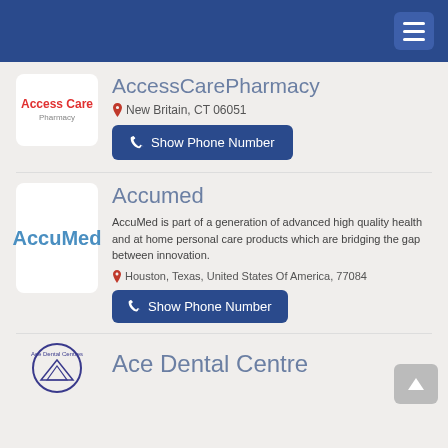Navigation bar with hamburger menu
[Figure (logo): Access Care Pharmacy logo - red and blue text]
AccessCarePharmacy
New Britain, CT 06051
Show Phone Number
[Figure (logo): AccuMed logo - blue text on white background]
Accumed
AccuMed is part of a generation of advanced high quality health and at home personal care products which are bridging the gap between innovation.
Houston, Texas, United States Of America, 77084
Show Phone Number
[Figure (logo): Ace Dental Centres logo - circular emblem with mountains]
Ace Dental Centre